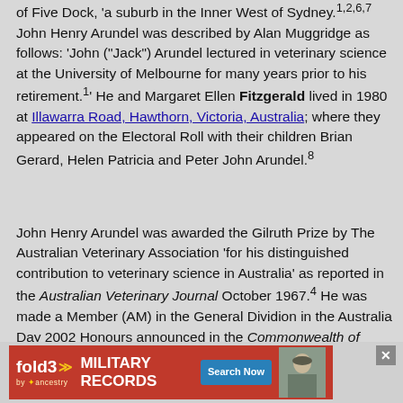of Five Dock, 'a suburb in the Inner West of Sydney.1,2,6,7 John Henry Arundel was described by Alan Muggridge as follows: 'John ("Jack") Arundel lectured in veterinary science at the University of Melbourne for many years prior to his retirement.1' He and Margaret Ellen Fitzgerald lived in 1980 at Illawarra Road, Hawthorn, Victoria, Australia; where they appeared on the Electoral Roll with their children Brian Gerard, Helen Patricia and Peter John Arundel.8
John Henry Arundel was awarded the Gilruth Prize by The Australian Veterinary Association 'for his distinguished contribution to veterinary science in Australia' as reported in the Australian Veterinary Journal October 1967.4 He was made a Member (AM) in the General Dividion in the Australia Day 2002 Honours announced in the Commonwealth of Australia Gazette by The Governor-General:-
'Dr John Henry ARUNDEL. 59 iliawarra Road, Hawthorn Vic 3122. For service to veterinary science as an educator and researcher, and to the profession through participa... on 26 January... on 21 Marc...rood
[Figure (other): Advertisement banner for Fold3 Military Records by Ancestry, with red background, yellow chevron logo, 'MILITARY RECORDS' text, 'Search Now' button, and a photo of a soldier.]